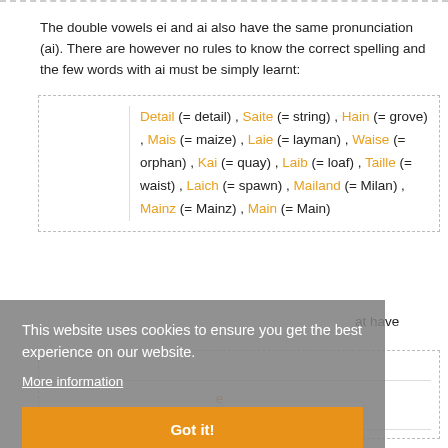The double vowels ei and ai also have the same pronunciation (ai). There are however no rules to know the correct spelling and the few words with ai must be simply learnt:
| Detail (= detail) , Saite (= string) , Hain (= grove) , Mais (= maize) , Laie (= layman) , Waise (= orphan) , Kai (= quay) , Laib (= loaf) , Taille (= waist) , Laich (= spawn) , Mailand (= Milan) , Mainz (= Mainz) , Main (= Main) |
...at have
Laib (ein Laib Brot, Käse) (– loaf) – der
This website uses cookies to ensure you get the best experience on our website.
More information
Got it!